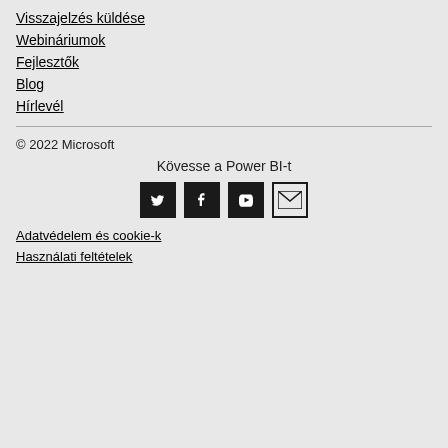Visszajelzés küldése
Webináriumok
Fejlesztők
Blog
Hírlevél
© 2022 Microsoft
Kövesse a Power BI-t
[Figure (infographic): Social media icons: Twitter (black square), Facebook (black square), YouTube (black square), Email (outlined envelope icon)]
Adatvédelem és cookie-k
Használati feltételek